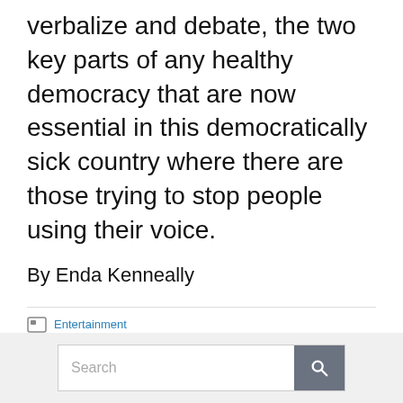verbalize and debate, the two key parts of any healthy democracy that are now essential in this democratically sick country where there are those trying to stop people using their voice.
By Enda Kenneally
Entertainment
Featured, Jonathan Teuma, la latina, poetry slam